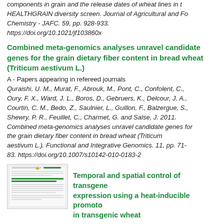components in grain and the release dates of wheat lines in the HEALTHGRAIN diversity screen. Journal of Agricultural and Food Chemistry - JAFC. 59, pp. 928-933. https://doi.org/10.1021/jf103860x
Combined meta-genomics analyses unravel candidate genes for the grain dietary fiber content in bread wheat (Triticum aestivum L.)
A - Papers appearing in refereed journals
Quraishi, U. M., Murat, F., Abrouk, M., Pont, C., Confolent, C., Oury, F. X., Ward, J. L., Boros, D., Gebruers, K., Delcour, J. A., Courtin, C. M., Bedo, Z., Saulnier, L., Guillon, F., Balzergue, S., Shewry, P. R., Feuillet, C., Charmet, G. and Salse, J. 2011. Combined meta-genomics analyses unravel candidate genes for the grain dietary fiber content in bread wheat (Triticum aestivum L.). Functional and Integrative Genomics. 11, pp. 71-83. https://doi.org/10.1007/s10142-010-0183-2
[Figure (screenshot): Thumbnail preview of a document page with header and body text]
Temporal and spatial control of transgene expression using a heat-inducible promoter in transgenic wheat